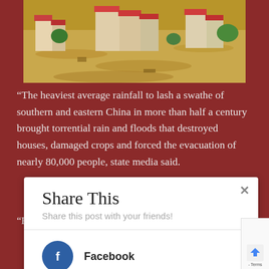[Figure (photo): Aerial view of flooded residential area in China, showing buildings surrounded by brown floodwater]
“The heaviest average rainfall to lash a swathe of southern and eastern China in more than half a century brought torrential rain and floods that destroyed houses, damaged crops and forced the evacuation of nearly 80,000 people, state media said.
“Even more rain is expected, state broadcaster CCTV said
Share This
Share this post with your friends!
Facebook
Twitter
- Terms